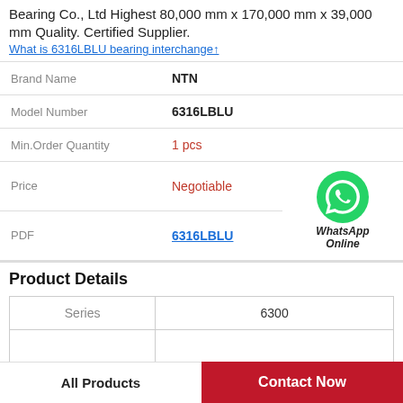Bearing Co., Ltd Highest 80,000 mm x 170,000 mm x 39,000 mm Quality. Certified Supplier.
What is 6316LBLU bearing interchange↑
| Brand Name | NTN |
| Model Number | 6316LBLU |
| Min.Order Quantity | 1 pcs |
| Price | Negotiable |
| PDF | 6316LBLU |
Product Details
| Series | 6300 |
|  |  |
All Products
Contact Now